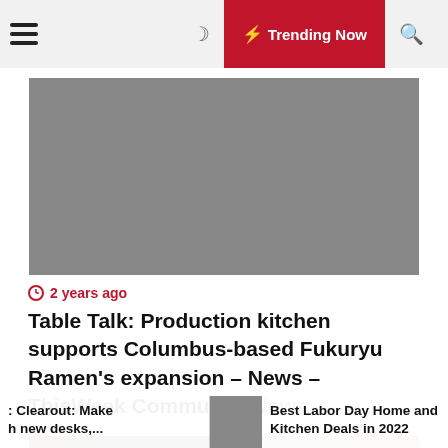≡  ☽  ⚡ Trending Now  🔍
[Figure (photo): Gray placeholder image area for article hero image]
2 years ago
Table Talk: Production kitchen supports Columbus-based Fukuryu Ramen's expansion – News – ThisWeek Community News
[Figure (photo): Photo of brass/metal valves or fittings on a dark background]
Clearout: Make h new desks,...
Best Labor Day Home and Kitchen Deals in 2022